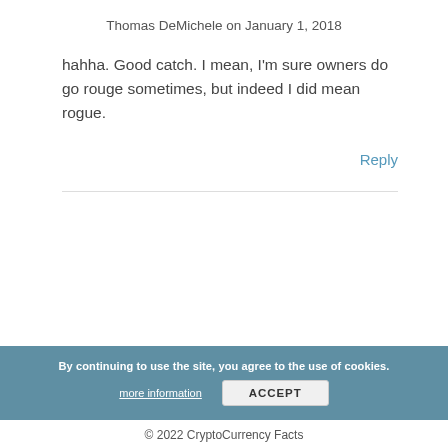Thomas DeMichele on January 1, 2018
hahha. Good catch. I mean, I'm sure owners do go rouge sometimes, but indeed I did mean rogue.
Reply
By continuing to use the site, you agree to the use of cookies.
more information
ACCEPT
© 2022 CryptoCurrency Facts